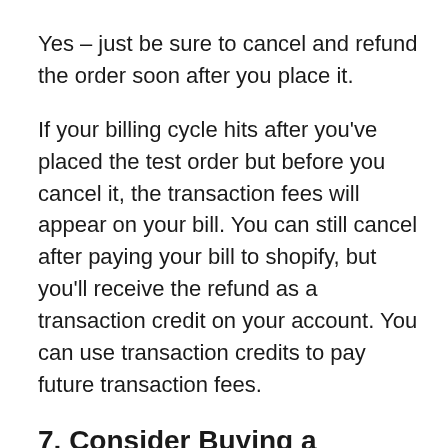Yes – just be sure to cancel and refund the order soon after you place it.
If your billing cycle hits after you've placed the test order but before you cancel it, the transaction fees will appear on your bill. You can still cancel after paying your bill to shopify, but you'll receive the refund as a transaction credit on your account. You can use transaction credits to pay future transaction fees.
7.  Consider Buying a Domain Name